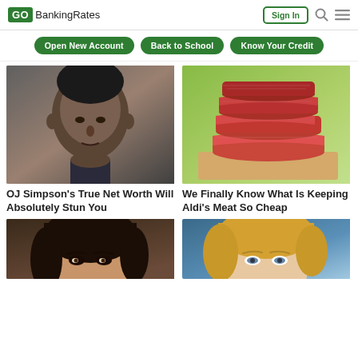GO BankingRates — Sign In
Open New Account | Back to School | Know Your Credit
[Figure (photo): Headshot of OJ Simpson, a middle-aged Black man]
OJ Simpson's True Net Worth Will Absolutely Stun You
[Figure (photo): Stack of raw red meat slices on a wooden surface with green bokeh background]
We Finally Know What Is Keeping Aldi's Meat So Cheap
[Figure (photo): Close-up of a brunette woman's face]
[Figure (photo): Close-up of a blonde woman's face with blue background]